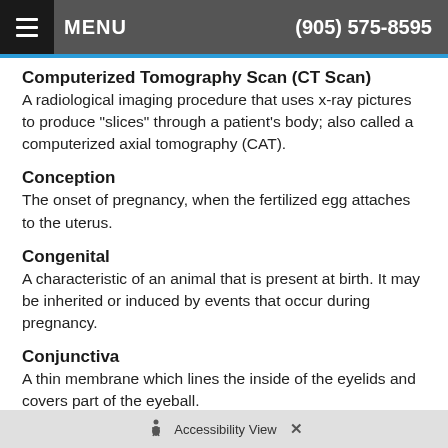MENU  (905) 575-8595
Computerized Tomography Scan (CT Scan)
A radiological imaging procedure that uses x-ray pictures to produce "slices" through a patient's body; also called a computerized axial tomography (CAT).
Conception
The onset of pregnancy, when the fertilized egg attaches to the uterus.
Congenital
A characteristic of an animal that is present at birth. It may be inherited or induced by events that occur during pregnancy.
Conjunctiva
A thin membrane which lines the inside of the eyelids and covers part of the eyeball.
Conjunctivitis
An inflammation of the lining of the eyelids; may cause pain, redness, itching,